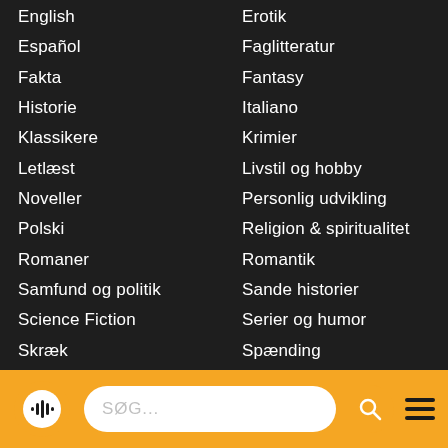English
Español
Fakta
Historie
Klassikere
Letlæst
Noveller
Polski
Romaner
Samfund og politik
Science Fiction
Skræk
Sport
Suomi
Thrillere
Erotik
Faglitteratur
Fantasy
Italiano
Krimier
Livstil og hobby
Personlig udvikling
Religion & spiritualitet
Romantik
Sande historier
Serier og humor
Spænding
Sprog
Svenska
Ungdomsbøger